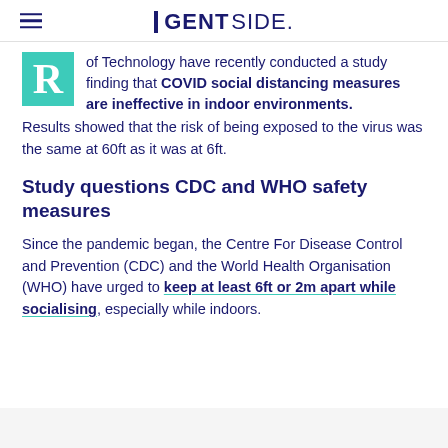GENTSIDE.
of Technology have recently conducted a study finding that COVID social distancing measures are ineffective in indoor environments. Results showed that the risk of being exposed to the virus was the same at 60ft as it was at 6ft.
Study questions CDC and WHO safety measures
Since the pandemic began, the Centre For Disease Control and Prevention (CDC) and the World Health Organisation (WHO) have urged to keep at least 6ft or 2m apart while socialising, especially while indoors.